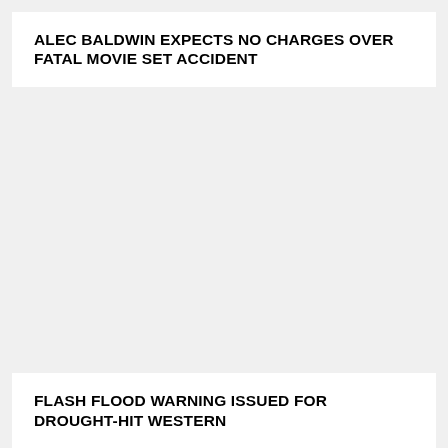ALEC BALDWIN EXPECTS NO CHARGES OVER FATAL MOVIE SET ACCIDENT
FLASH FLOOD WARNING ISSUED FOR DROUGHT-HIT WESTERN